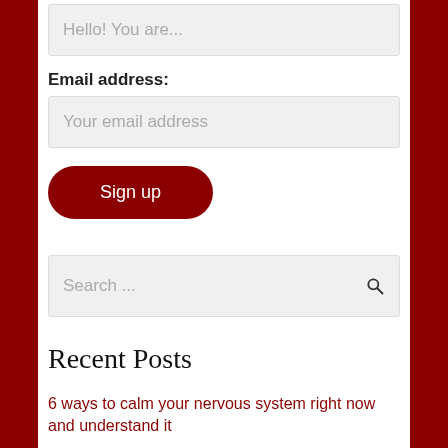Hello! You are...
Email address:
Your email address
Sign up
Search ...
Recent Posts
6 ways to calm your nervous system right now and understand it